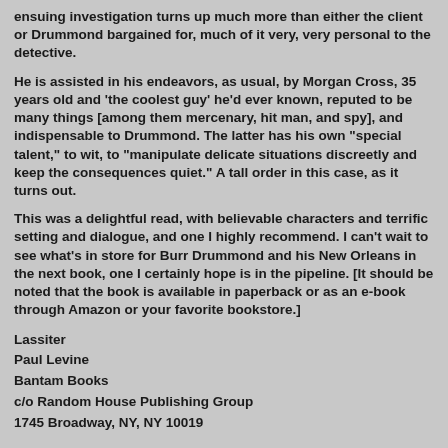ensuing investigation turns up much more than either the client or Drummond bargained for, much of it very, very personal to the detective.
He is assisted in his endeavors, as usual, by Morgan Cross, 35 years old and 'the coolest guy' he'd ever known, reputed to be many things [among them mercenary, hit man, and spy], and indispensable to Drummond. The latter has his own "special talent," to wit, to "manipulate delicate situations discreetly and keep the consequences quiet." A tall order in this case, as it turns out.
This was a delightful read, with believable characters and terrific setting and dialogue, and one I highly recommend. I can't wait to see what's in store for Burr Drummond and his New Orleans in the next book, one I certainly hope is in the pipeline. [It should be noted that the book is available in paperback or as an e-book through Amazon or your favorite bookstore.]
Lassiter
Paul Levine
Bantam Books
c/o Random House Publishing Group
1745 Broadway, NY, NY 10019